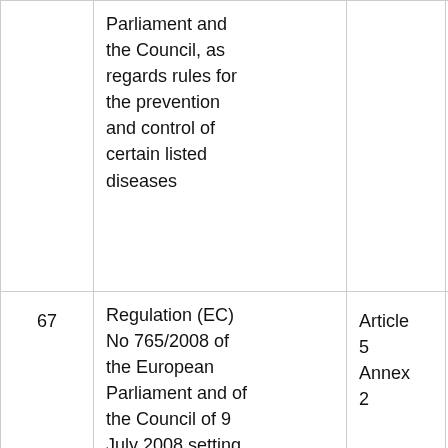|  | Description | Article | OJ Reference | Consolidated |
| --- | --- | --- | --- | --- |
|  | Parliament and the Council, as regards rules for the prevention and control of certain listed diseases |  |  |  |
| 67 | Regulation (EC) No 765/2008 of the European Parliament and of the Council of 9 July 2008 setting out the requirements for accreditation and... | Article 5
Annex 2 | L218 13.8.2008 p.30 | Conso 16.7.2... |